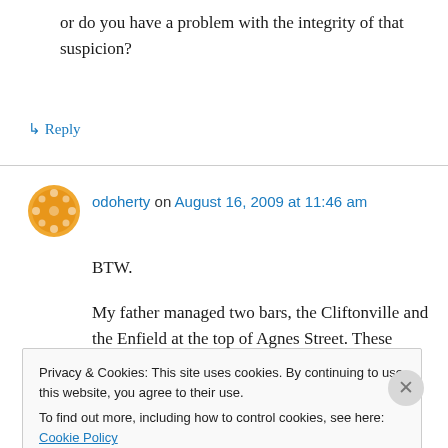or do you have a problem with the integrity of that suspicion?
↳ Reply
odoherty on August 16, 2009 at 11:46 am
BTW.
My father managed two bars, the Cliftonville and the Enfield at the top of Agnes Street. These
Privacy & Cookies: This site uses cookies. By continuing to use this website, you agree to their use.
To find out more, including how to control cookies, see here: Cookie Policy
Close and accept